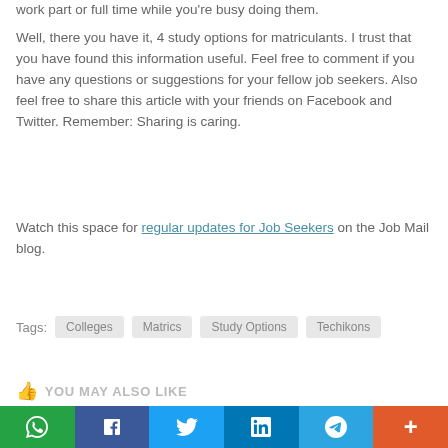work part or full time while you're busy doing them.
Well, there you have it, 4 study options for matriculants. I trust that you have found this information useful. Feel free to comment if you have any questions or suggestions for your fellow job seekers. Also feel free to share this article with your friends on Facebook and Twitter. Remember: Sharing is caring.
Watch this space for regular updates for Job Seekers on the Job Mail blog.
Tags: Colleges  Matrics  Study Options  Techikons
YOU MAY ALSO LIKE